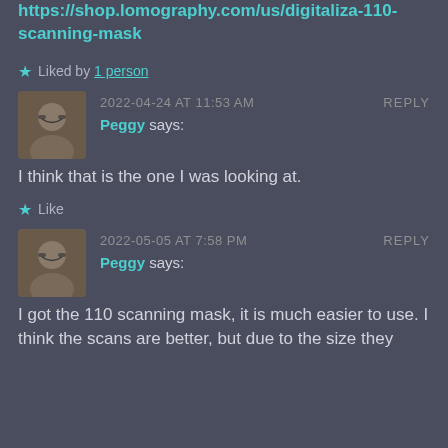https://shop.lomography.com/us/digitaliza-110-scanning-mask
★ Liked by 1 person
2022-04-24 AT 11:53 AM  REPLY
Peggy says:
I think that is the one I was looking at.
★ Like
2022-05-05 AT 7:58 PM  REPLY
Peggy says:
I got the 110 scanning mask, it is much easier to use. I think the scans are better, but due to the size they